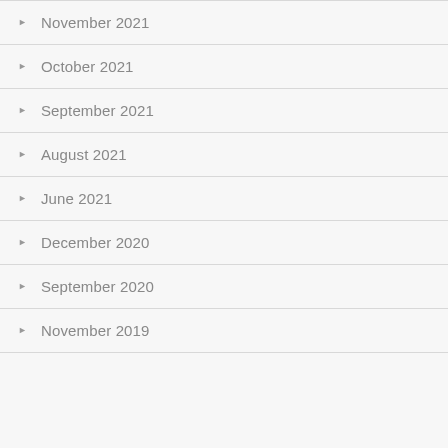November 2021
October 2021
September 2021
August 2021
June 2021
December 2020
September 2020
November 2019